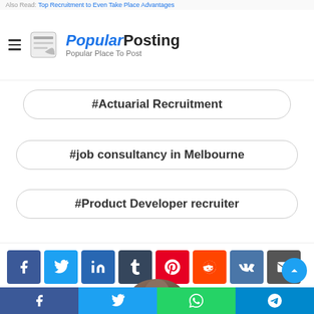Also Read: [link text truncated]
[Figure (logo): PopularPosting logo with hamburger menu icon, scroll icon, italic 'Popular' in blue, bold 'Posting' in black, tagline 'Popular Place To Post']
#Actuarial Recruitment
#job consultancy in Melbourne
#Product Developer recruiter
[Figure (infographic): Social share buttons row: Facebook (blue), Twitter (light blue), LinkedIn (dark blue), Tumblr (dark slate), Pinterest (red), Reddit (orange), VK (steel blue), Email (dark gray), Print (dark gray)]
[Figure (photo): Author avatar circular photo showing a person with braided hair]
[Figure (infographic): Bottom navigation bar with Facebook, Twitter, WhatsApp, Telegram share buttons and a scroll-to-top button]